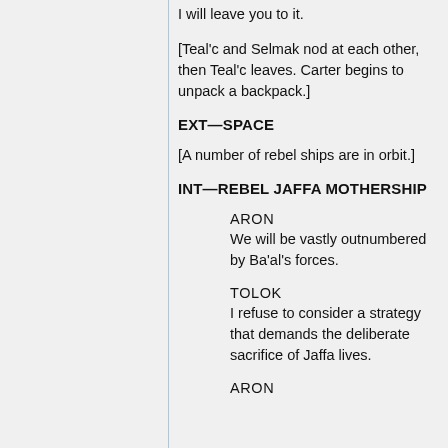[Teal'c and Selmak nod at each other, then Teal'c leaves. Carter begins to unpack a backpack.]
EXT—SPACE
[A number of rebel ships are in orbit.]
INT—REBEL JAFFA MOTHERSHIP
ARON
We will be vastly outnumbered by Ba'al's forces.
TOLOK
I refuse to consider a strategy that demands the deliberate sacrifice of Jaffa lives.
ARON